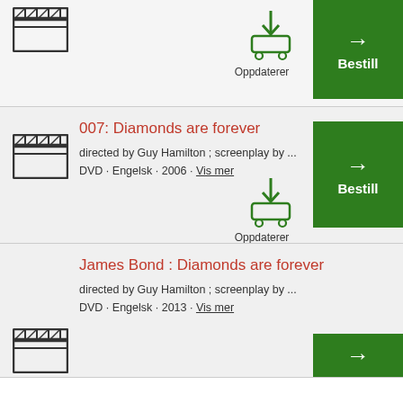[Figure (illustration): Film clapper board icon (top, partial section)]
[Figure (illustration): Green shopping cart icon with download arrow]
Oppdaterer
[Figure (illustration): Green Bestill button with right arrow]
007: Diamonds are forever
directed by Guy Hamilton ; screenplay by ...
DVD · Engelsk · 2006 · Vis mer
[Figure (illustration): Film clapper board icon]
[Figure (illustration): Green shopping cart icon with download arrow]
Oppdaterer
[Figure (illustration): Green Bestill button with right arrow]
James Bond : Diamonds are forever
directed by Guy Hamilton ; screenplay by ...
DVD · Engelsk · 2013 · Vis mer
[Figure (illustration): Film clapper board icon (partial, bottom)]